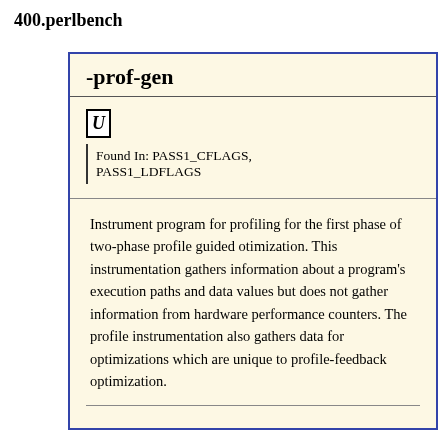400.perlbench
-prof-gen
U
Found In: PASS1_CFLAGS, PASS1_LDFLAGS
Instrument program for profiling for the first phase of two-phase profile guided otimization. This instrumentation gathers information about a program's execution paths and data values but does not gather information from hardware performance counters. The profile instrumentation also gathers data for optimizations which are unique to profile-feedback optimization.